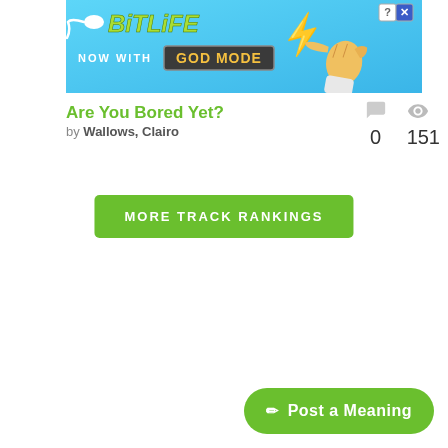[Figure (screenshot): BitLife app advertisement banner with blue gradient background, logo, 'GOD MODE' text, lightning bolt, and pointing hand illustration]
Are You Bored Yet?
by Wallows, Clairo
0   151
MORE TRACK RANKINGS
✏ Post a Meaning